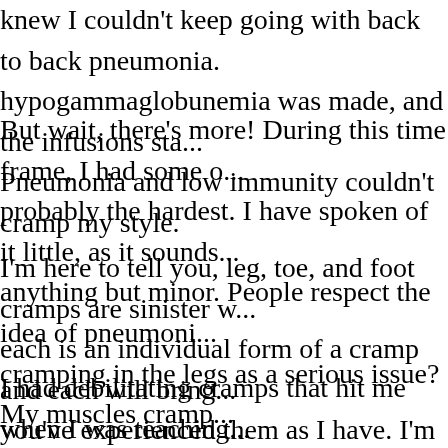knew I couldn't keep going with back to back pneumonia. hypogammaglobunemia was made, and the infusions sta... Pneumonia and low immunity couldn't cramp my style.
But wait, there's more! During this time frame, I had some o... probably the hardest. I have spoken of it little, as it sounds... anything but minor. People respect the idea of pneumoni... cramping in the legs as a serious issue? My muscles cramp... way.
I'm here to tell you, leg, toe, and foot cramps are sinister w... each is an individual form of a cramp and each will bring... you've experienced them as I have. I'm guessing in 2010, th... difficult things I endured and certainly the most painful.
I had debilitating cramps that hit me when I was teaching... all, sleeping. I can remember lecturing to my dialysis class... white erase board, and my calf muscle hitting a full revers... kept my composure some, but my students knew what wa...